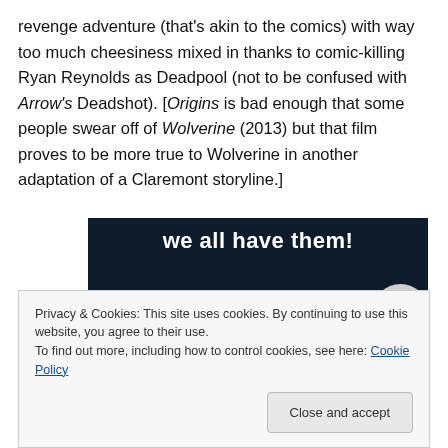revenge adventure (that's akin to the comics) with way too much cheesiness mixed in thanks to comic-killing Ryan Reynolds as Deadpool (not to be confused with Arrow's Deadshot). [Origins is bad enough that some people swear off of Wolverine (2013) but that film proves to be more true to Wolverine in another adaptation of a Claremont storyline.]
[Figure (photo): Dark navy background image with white bold text reading 'we all have them!' and a pink bar and partial grey circle at the bottom]
Privacy & Cookies: This site uses cookies. By continuing to use this website, you agree to their use.
To find out more, including how to control cookies, see here: Cookie Policy
Close and accept